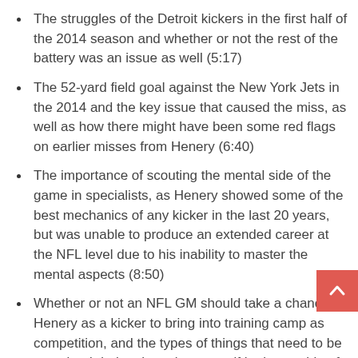The struggles of the Detroit kickers in the first half of the 2014 season and whether or not the rest of the battery was an issue as well (5:17)
The 52-yard field goal against the New York Jets in the 2014 and the key issue that caused the miss, as well as how there might have been some red flags on earlier misses from Henery (6:40)
The importance of scouting the mental side of the game in specialists, as Henery showed some of the best mechanics of any kicker in the last 20 years, but was unable to produce an extended career at the NFL level due to his inability to master the mental aspects (8:50)
Whether or not an NFL GM should take a chance on Henery as a kicker to bring into training camp as competition, and the types of things that need to be examined during that stint to see if he is capable of being an NFL-caliber kicker at this point in his career (12:18)
Our Twitter Question of the Day, "If you were conducting interviews for a team at the combine, what questions would you ask to see if you got a nice…"